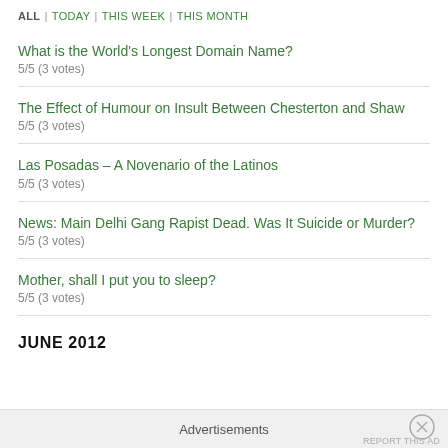ALL | TODAY | THIS WEEK | THIS MONTH
What is the World's Longest Domain Name?
5/5 (3 votes)
The Effect of Humour on Insult Between Chesterton and Shaw
5/5 (3 votes)
Las Posadas – A Novenario of the Latinos
5/5 (3 votes)
News: Main Delhi Gang Rapist Dead. Was It Suicide or Murder?
5/5 (3 votes)
Mother, shall I put you to sleep?
5/5 (3 votes)
JUNE 2012
Advertisements